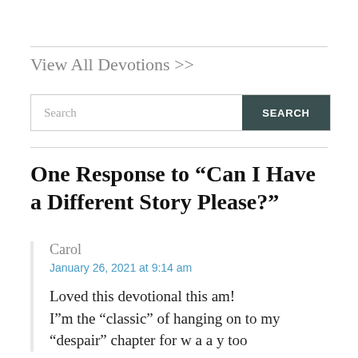View All Devotions >>
One Response to “Can I Have a Different Story Please?”
Carol
January 26, 2021 at 9:14 am
Loved this devotional this am! I”m the “classic” of hanging on to my “despair” chapter for w a a y too